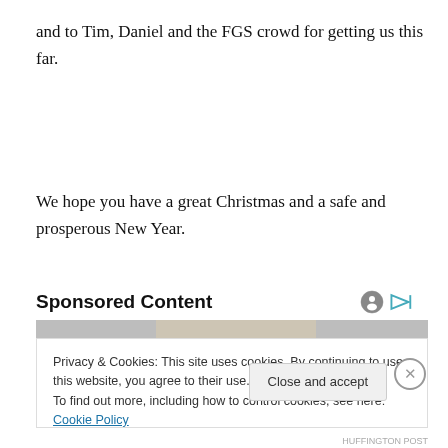and to Tim, Daniel and the FGS crowd for getting us this far.
We hope you have a great Christmas and a safe and prosperous New Year.
Sponsored Content
[Figure (photo): Partial image of a person visible behind cookie consent banner]
Privacy & Cookies: This site uses cookies. By continuing to use this website, you agree to their use.
To find out more, including how to control cookies, see here: Cookie Policy
HUFFINGTON POST